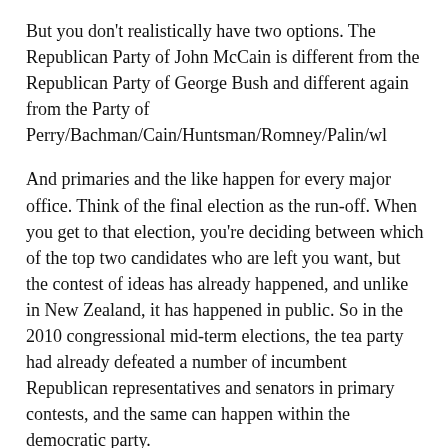But you don't realistically have two options. The Republican Party of John McCain is different from the Republican Party of George Bush and different again from the Party of Perry/Bachman/Cain/Huntsman/Romney/Palin/wl
And primaries and the like happen for every major office. Think of the final election as the run-off. When you get to that election, you're deciding between which of the top two candidates who are left you want, but the contest of ideas has already happened, and unlike in New Zealand, it has happened in public. So in the 2010 congressional mid-term elections, the tea party had already defeated a number of incumbent Republican representatives and senators in primary contests, and the same can happen within the democratic party.
You can look at the New Zealand elections in a similar way. This year, you have two choices: a National-led government, or a Labour-led one, the votes you cast merely decide the make-up of those